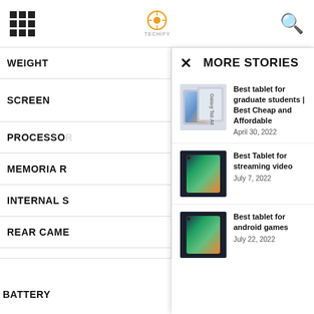Grid menu icon | Logo | Search icon
WEIGHT
SCREEN
PROCESSOR
MEMORIA R
INTERNAL S
REAR CAME
FRONT CAM
BATTERY
MORE STORIES
Best tablet for graduate students | Best Cheap and Affordable
April 30, 2022
Best Tablet for streaming video
July 7, 2022
Best tablet for android games
July 22, 2022
10,050mAh
Fast charge 45W